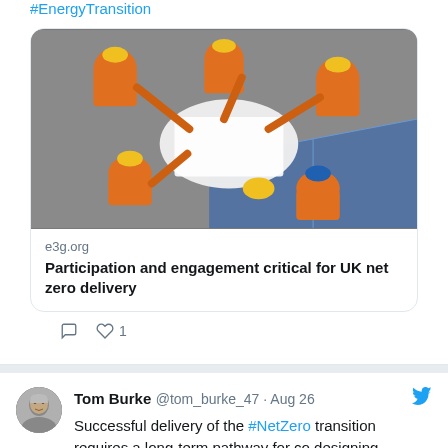#EnergyTransition
[Figure (photo): Aerial view of construction workers in orange high-visibility vests and helmets (yellow and blue) looking at plans on a solar panel]
e3g.org
Participation and engagement critical for UK net zero delivery
♡ 1
Tom Burke @tom_burke_47 · Aug 26
Successful delivery of the #NetZero transition requires a long-term pathway for co designing, delivering, and monitoring in a way that enables meaningful, inclusive whole-of-